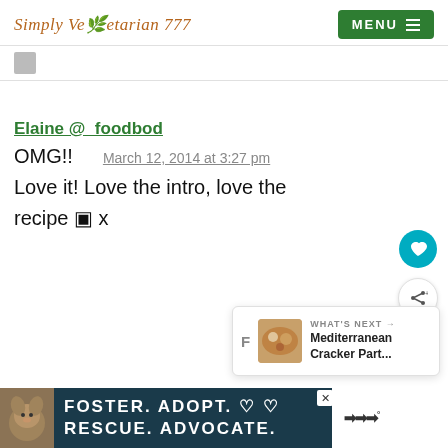Simply Vegetarian 777  MENU
Elaine @_foodbod
March 12, 2014 at 3:27 pm
OMG!!
Love it! Love the intro, love the recipe 🍀 x
[Figure (screenshot): WHAT'S NEXT card showing Mediterranean Cracker Part...]
[Figure (infographic): Ad banner: FOSTER. ADOPT. RESCUE. ADVOCATE. with dog photo]